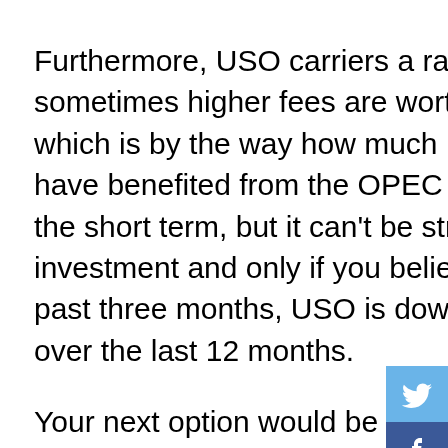Furthermore, USO carriers a rather high expense ratio of 0.74%, but sometimes higher fees are worth it when you can make 8% in one month, which is by the way how much USO is up over the last 30 days. Investors have benefited from the OPEC 'agreement' as the price of oil has risen in the short term, but it can't be stressed enough that this is a short-term investment and only if you believe oil will continue to increase. Over the past three months, USO is down 5.21% while being off more than 24.5% over the last 12 months.
Your next option would be buying the Energy Select Sector SPDR ETF (PACF:XLE). The XLE tracks a market-cap-weighted index of US energy companies found within the S&P 500. Because XLE pulls its stocks only from the S&P 500, it has a smaller portfolio, but it also offers investors a little more stability since some of the mid and small cap oil and gas companies are excluded. It currently has 37 holdings with Exxon Mobil (XOM) being the largest at 18% the fund, Chevron (CVX) being the second largest at 14.8%
[Figure (infographic): Social media sharing buttons on the right side: Twitter (blue bird), Facebook (blue f), RSS (orange), Plus (grey), Email (light grey)]